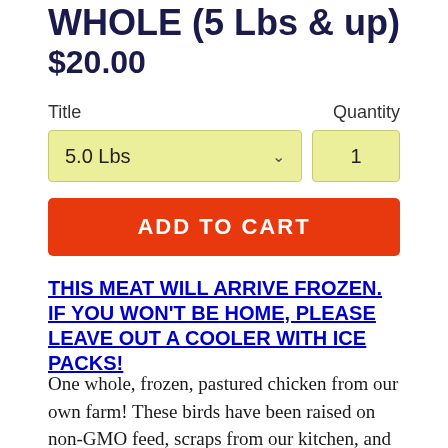WHOLE (5 Lbs & up)
$20.00
Title
Quantity
5.0 Lbs
1
ADD TO CART
THIS MEAT WILL ARRIVE FROZEN.  IF YOU WON'T BE HOME, PLEASE LEAVE OUT A COOLER WITH ICE PACKS!
One whole, frozen, pastured chicken from our own farm!  These birds have been raised on non-GMO feed, scraps from our kitchen, and whatever grass and bugs they